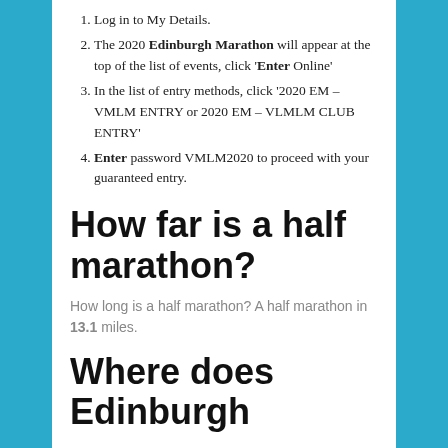Log in to My Details.
The 2020 Edinburgh Marathon will appear at the top of the list of events, click '‘Enter Online’
In the list of entry methods, click ‘2020 EM – VMLM ENTRY or 2020 EM – VLMLM CLUB ENTRY’
Enter password VMLM2020 to proceed with your guaranteed entry.
How far is a half marathon?
How long is a half marathon? A half marathon in 13.1 miles.
Where does Edinburgh